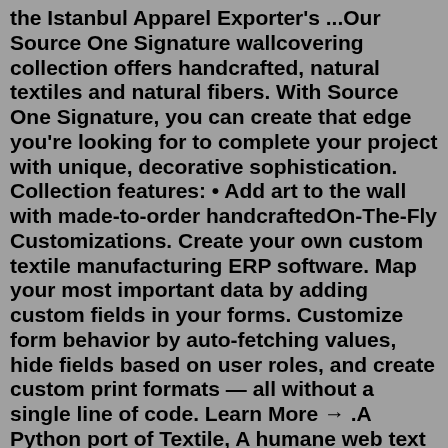the Istanbul Apparel Exporter's ...Our Source One Signature wallcovering collection offers handcrafted, natural textiles and natural fibers. With Source One Signature, you can create that edge you're looking for to complete your project with unique, decorative sophistication. Collection features: • Add art to the wall with made-to-order handcraftedOn-The-Fly Customizations. Create your own custom textile manufacturing ERP software. Map your most important data by adding custom fields in your forms. Customize form behavior by auto-fetching values, hide fields based on user roles, and create custom print formats — all without a single line of code. Learn More → .A Python port of Textile, A humane web text generator. Python 63 20. textile-spec Public. Textile specification. 34 2. textile-mark Public. Use one of these logo marks wherever you use Textile, the markup syntax for writers. 10 4.Apr 22, 2022 · Wolfin Textiles. If you are looking for stretch fabric, Friedmans is the place to start. They stock a wide variety of wholesale materials for many types of